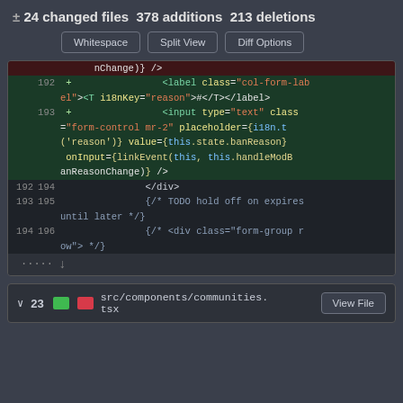± 24 changed files  378 additions  213 deletions
[Figure (screenshot): GitHub diff view showing toolbar buttons: Whitespace, Split View, Diff Options]
[Figure (screenshot): Code diff showing added lines 192-193 with JSX label and input elements, and context lines 192-196]
v 23  [green][red]  src/components/communities.tsx  View File